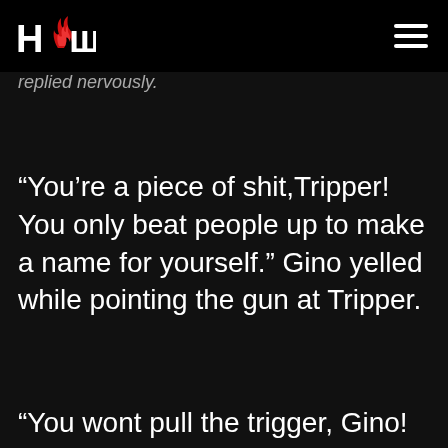HCW logo and hamburger menu
replied nervously.
“You’re a piece of shit,Tripper! You only beat people up to make a name for yourself.” Gino yelled while pointing the gun at Tripper.
“You wont pull the trigger, Gino! You’re too